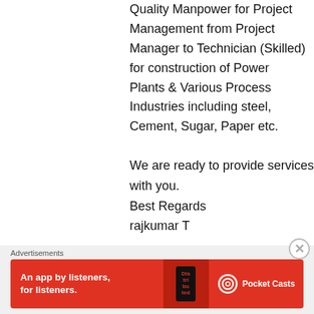Quality Manpower for Project Management from Project Manager to Technician (Skilled) for construction of Power Plants & Various Process Industries including steel, Cement, Sugar, Paper etc.
We are ready to provide services with you.
Best Regards
rajkumar T
09944407888
★ Like
↵ Reply
Advertisements
[Figure (screenshot): Red advertisement banner for Pocket Casts app: 'An app by listeners, for listeners.' with phone image and Pocket Casts logo]